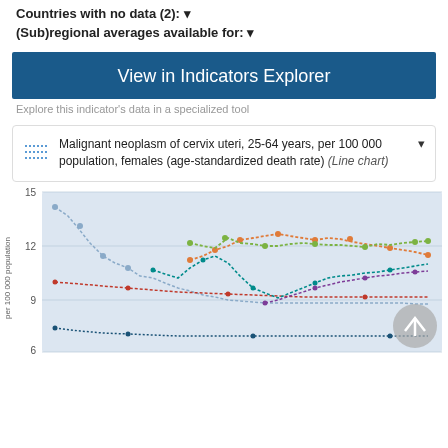Countries with no data (2): ▾
(Sub)regional averages available for: ▾
View in Indicators Explorer
Explore this indicator's data in a specialized tool
Malignant neoplasm of cervix uteri, 25-64 years, per 100 000 population, females (age-standardized death rate) (Line chart)
[Figure (line-chart): Multi-series line chart showing trends over time for multiple countries/regions. Y-axis ranges from ~6 to 15. Multiple colored dotted/dashed lines showing various trajectories — some declining, some rising, some stable around 6-13 range.]